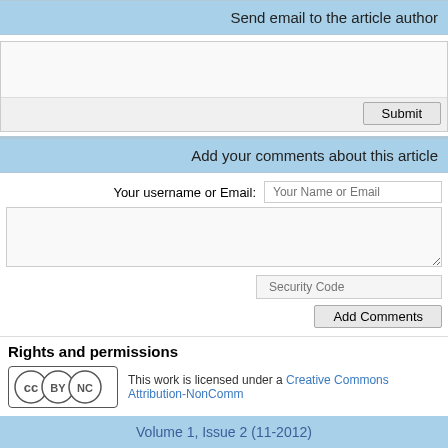Send email to the article author
Submit
Add your comments about this article
Your username or Email:
Your Name or Email
Security Code
Add Comments
Rights and permissions
This work is licensed under a Creative Commons Attribution-NonComm...
Volume 1, Issue 2 (11-2012)
Persian site map - English site map - Created in O...